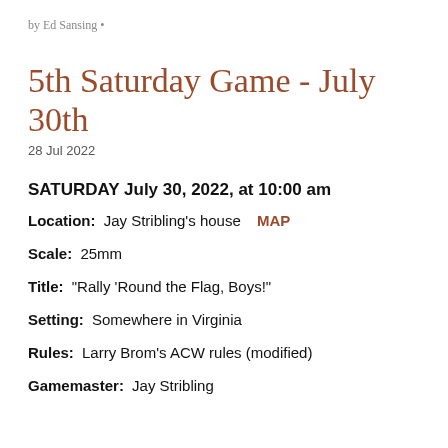by Ed Sansing •
5th Saturday Game - July 30th
28 Jul 2022
SATURDAY July 30, 2022, at 10:00 am
Location:   Jay Stribling's house   MAP
Scale:  25mm
Title:  "Rally 'Round the Flag, Boys!"
Setting:  Somewhere in Virginia
Rules:  Larry Brom's ACW rules (modified)
Gamemaster:  Jay Stribling